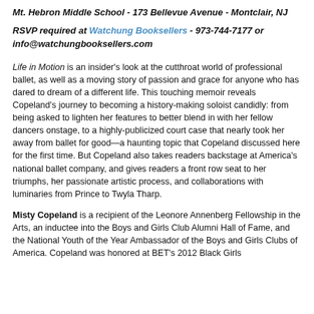Mt. Hebron Middle School - 173 Bellevue Avenue - Montclair, NJ
RSVP required at Watchung Booksellers - 973-744-7177 or info@watchungbooksellers.com
Life in Motion is an insider's look at the cutthroat world of professional ballet, as well as a moving story of passion and grace for anyone who has dared to dream of a different life. This touching memoir reveals Copeland's journey to becoming a history-making soloist candidly: from being asked to lighten her features to better blend in with her fellow dancers onstage, to a highly-publicized court case that nearly took her away from ballet for good—a haunting topic that Copeland discussed here for the first time. But Copeland also takes readers backstage at America's national ballet company, and gives readers a front row seat to her triumphs, her passionate artistic process, and collaborations with luminaries from Prince to Twyla Tharp.
Misty Copeland is a recipient of the Leonore Annenberg Fellowship in the Arts, an inductee into the Boys and Girls Club Alumni Hall of Fame, and the National Youth of the Year Ambassador of the Boys and Girls Clubs of America. Copeland was honored at BET's 2012 Black Girls...